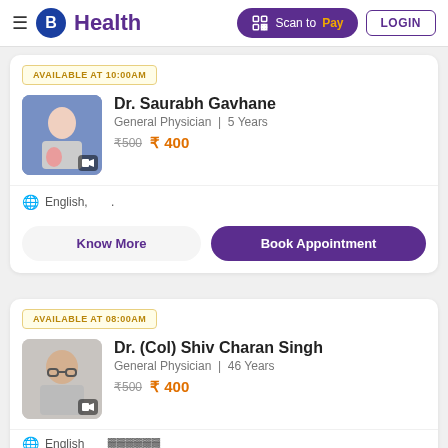B Health — Scan to Pay | LOGIN
AVAILABLE AT 10:00AM
Dr. Saurabh Gavhane — General Physician | 5 Years — ₹500 ₹400
English,  .
Know More | Book Appointment
AVAILABLE AT 08:00AM
Dr. (Col) Shiv Charan Singh — General Physician | 46 Years — ₹500 ₹400
English